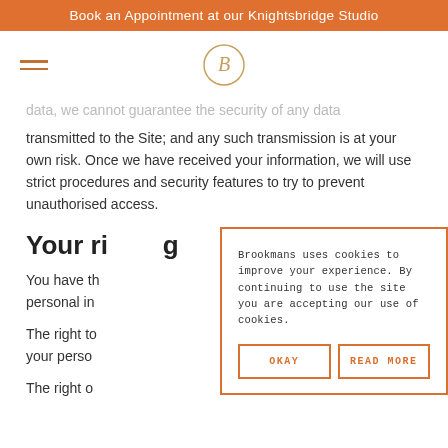Book an Appointment at our Knightsbridge Studio
[Figure (logo): Brookmans logo — letter B inside a circle, with hamburger menu icon to the left]
data, we cannot guarantee the security of any data transmitted to the Site; and any such transmission is at your own risk. Once we have received your information, we will use strict procedures and security features to try to prevent unauthorised access.
Your rig
You have th... personal in...
The right to... your perso...
The right o...
Brookmans uses cookies to improve your experience. By continuing to use the site you are accepting our use of cookies.